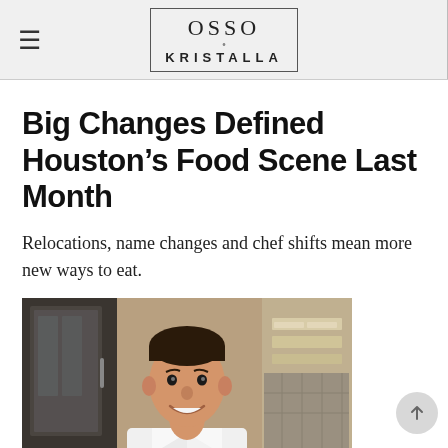OSSO KRISTALLA
Big Changes Defined Houston’s Food Scene Last Month
Relocations, name changes and chef shifts mean more new ways to eat.
[Figure (photo): Photo of a smiling male chef in a white chef coat, standing in a restaurant kitchen with glass doors and shelving in the background.]